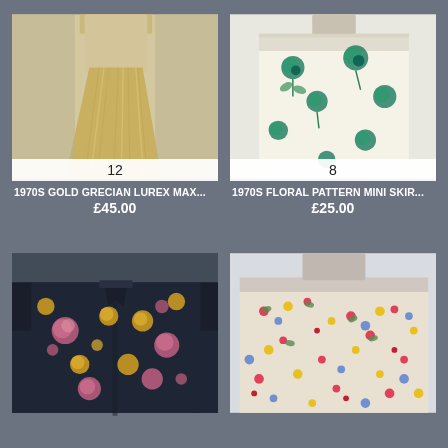[Figure (photo): 1970s gold/beige Grecian Lurex maxi dress on mannequin, size 12 badge]
1970S GOLD GRECIAN LUREX MAX...
£45.00
[Figure (photo): 1970s white floral pattern mini skirt with teal/green flowers, size 8 badge]
1970S FLORAL PATTERN MINI SKIR...
£25.00
[Figure (photo): 1970s dark floral pattern shirt/blouse with pink and yellow flowers on navy background]
[Figure (photo): 1970s multicolor small floral pattern skirt in pink, yellow, red, blue flowers on cream]